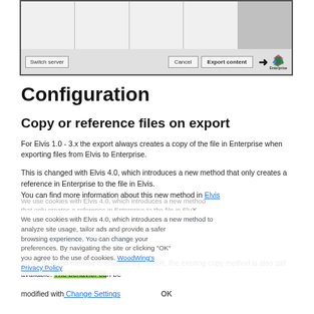[Figure (screenshot): Dialog window showing a table/grid with Switch server button on left and Cancel and Export content buttons on right, with an arrow pointing to an Enterprise logo]
Configuration
Copy or reference files on export
For Elvis 1.0 - 3.x the export always creates a copy of the file in Enterprise when exporting files from Elvis to Enterprise.
This is changed with Elvis 4.0, which introduces a new method that only creates a reference in Enterprise to the file in Elvis. You can find more information about this new method in Elvis Content Source plug-in for Enterprise.
While this new method is enabled by default, the existing copy method is also still available. The behavior can be modified with these settings on Configuration.